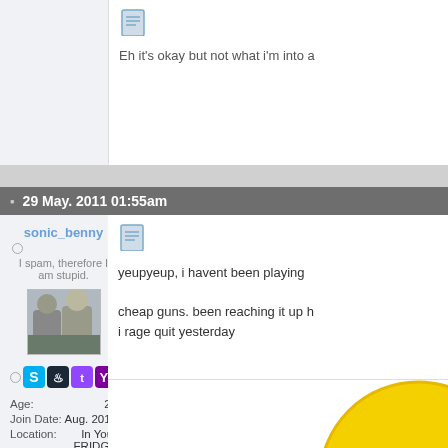Eh it's okay but not what i'm into a
29 May. 2011 01:55am
sonic_benny
I spam, therefore I am stupid.
[Figure (photo): User avatar photo showing two people]
Age: 27
Join Date: Aug. 2010
Location: In Your FRIDGE with a laptop :)
Posts: 1,360
Reputation: 89
LCash: 0.00
yeupyeup, i havent been playing

cheap guns. been reaching it up
i rage quit yesterday